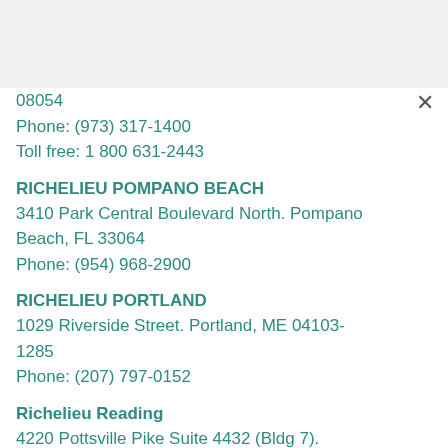08054
Phone: (973) 317-1400
Toll free: 1 800 631-2443
RICHELIEU POMPANO BEACH
3410 Park Central Boulevard North. Pompano Beach, FL 33064
Phone: (954) 968-2900
RICHELIEU PORTLAND
1029 Riverside Street. Portland, ME 04103-1285
Phone: (207) 797-0152
Richelieu Reading
4220 Pottsville Pike Suite 4432 (Bldg 7).